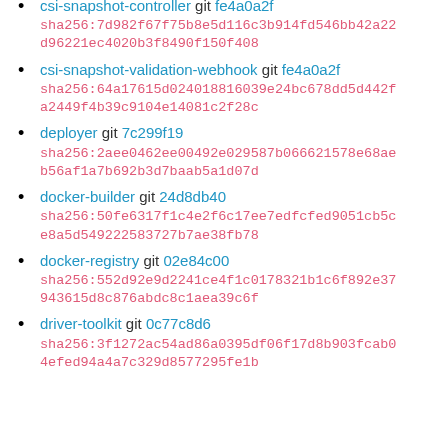csi-snapshot-controller git fe4a0a2f sha256:7d982f67f75b8e5d116c3b914fd546bb42a22d96221ec4020b3f8490f150f408
csi-snapshot-validation-webhook git fe4a0a2f sha256:64a17615d024018816039e24bc678dd5d442fa2449f4b39c9104e14081c2f28c
deployer git 7c299f19 sha256:2aee0462ee00492e029587b066621578e68aeb56af1a7b692b3d7baab5a1d07d
docker-builder git 24d8db40 sha256:50fe6317f1c4e2f6c17ee7edfcfed9051cb5ce8a5d549222583727b7ae38fb78
docker-registry git 02e84c00 sha256:552d92e9d2241ce4f1c0178321b1c6f892e37943615d8c876abdc8c1aea39c6f
driver-toolkit git 0c77c8d6 sha256:3f1272ac54ad86a0395df06f17d8b903fcab04efed94a4a7c329d8577295fe1b